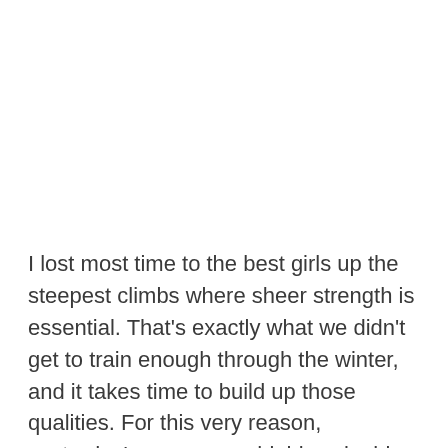I lost most time to the best girls up the steepest climbs where sheer strength is essential. That's exactly what we didn't get to train enough through the winter, and it takes time to build up those qualities. For this very reason, yesterday's race was a highly valuable session of training which will doubtlessly pay off later on in the season.